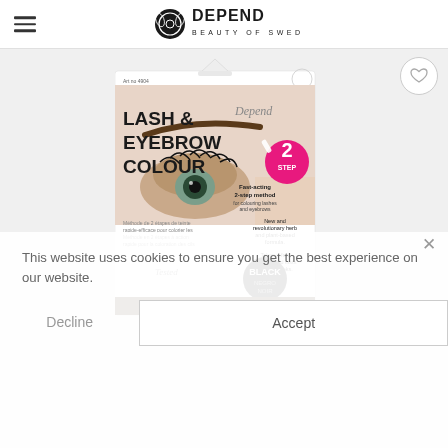DEPEND BEAUTY OF SWEDEN
[Figure (photo): Depend Beauty of Sweden product box for Lash & Eyebrow Colour in Black. Shows packaging with an eye/eyebrow image, '2 Step Fast-acting 2-step method for colouring lashes and eyebrows', 'New and revolutionary herb and plant-based formula', 'Takes a few minutes and lasts up to 8 weeks', BLACK/NEGRO/NOIR color swatch, and BEAUTY OF SWEDEN branding at bottom. Art no 4904.]
This website uses cookies to ensure you get the best experience on our website.
Decline
Accept